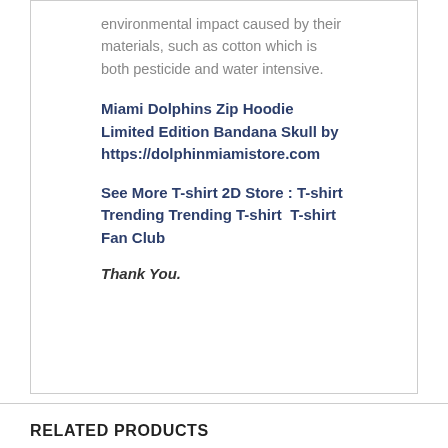environmental impact caused by their materials, such as cotton which is both pesticide and water intensive.
Miami Dolphins Zip Hoodie Limited Edition Bandana Skull by https://dolphinmiamistore.com
See More T-shirt 2D Store : T-shirt Trending Trending T-shirt  T-shirt Fan Club
Thank You.
RELATED PRODUCTS